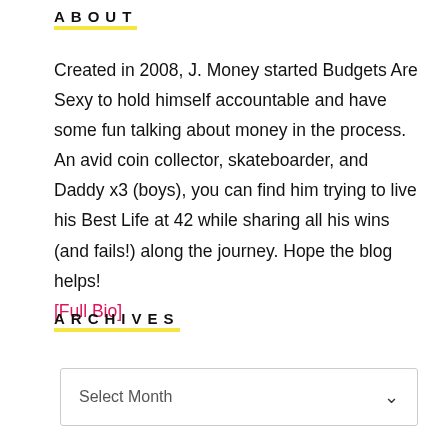ABOUT
Created in 2008, J. Money started Budgets Are Sexy to hold himself accountable and have some fun talking about money in the process. An avid coin collector, skateboarder, and Daddy x3 (boys), you can find him trying to live his Best Life at 42 while sharing all his wins (and fails!) along the journey. Hope the blog helps! [Full Bio]
ARCHIVES
Select Month